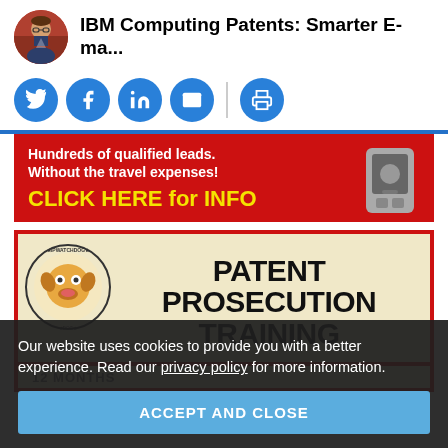IBM Computing Patents: Smarter E-ma...
[Figure (infographic): Social share icons row: Twitter, Facebook, LinkedIn, Email, Print (blue circles), with a vertical divider before the print icon]
[Figure (infographic): Red advertisement banner: 'Hundreds of qualified leads. Without the travel expenses! CLICK HERE for INFO' with a machine image on the right]
[Figure (infographic): IPWatchdog Patent Prosecution Training advertisement with logo, bold black text 'PATENT PROSECUTION TRAINING', subtext '12 MONTHS', 'GO AT YOUR OWN PACE']
Our website uses cookies to provide you with a better experience. Read our privacy policy for more information.
ACCEPT AND CLOSE